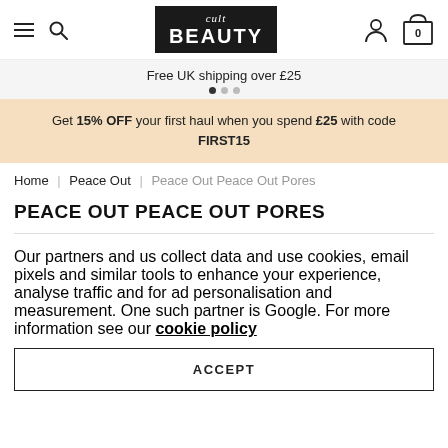Cult Beauty – navigation header with hamburger menu, search, logo, user icon, and cart (0)
Free UK shipping over £25
Get 15% OFF your first haul when you spend £25 with code FIRST15
Home | Peace Out | Peace Out Peace Out Pores
PEACE OUT PEACE OUT PORES
Our partners and us collect data and use cookies, email pixels and similar tools to enhance your experience, analyse traffic and for ad personalisation and measurement. One such partner is Google. For more information see our cookie policy
ACCEPT